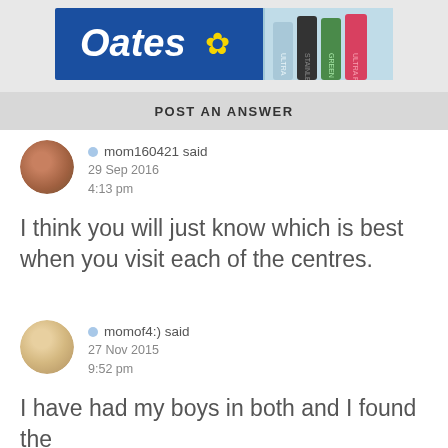[Figure (logo): Oates brand advertisement banner with blue background, white italic logo text 'Oates' with yellow flower/asterisk symbol, and product images on right side]
POST AN ANSWER
mom160421 said
29 Sep 2016
4:13 pm
I think you will just know which is best when you visit each of the centres.
momof4:) said
27 Nov 2015
9:52 pm
I have had my boys in both and I found the